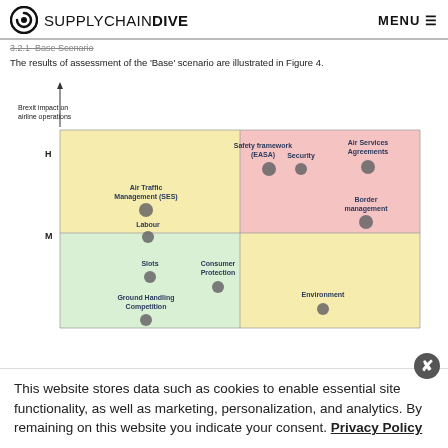SUPPLYCHAIN DIVE  MENU
3.2.1  Base Scenario
The results of assessment of the 'Base' scenario are illustrated in Figure 4.
[Figure (scatter-plot): 2x2 quadrant matrix. Y-axis: Brexit impact on airline operations (H at top, M in middle, L implied at bottom). X-axis: unlabeled (Low left, High right). Top-left quadrant (yellow): Air Traffic Management (SES), Labour, Slots, Ground Handling Competition. Top-right quadrant (pink/red): Safety framework (EASA), Security, Air Services Agreements, Border management. Bottom-left quadrant (green): Labour, Slots, Consumer Protection, Ground Handling Competition. Bottom-right quadrant (yellow): Environment.]
This website stores data such as cookies to enable essential site functionality, as well as marketing, personalization, and analytics. By remaining on this website you indicate your consent. Privacy Policy